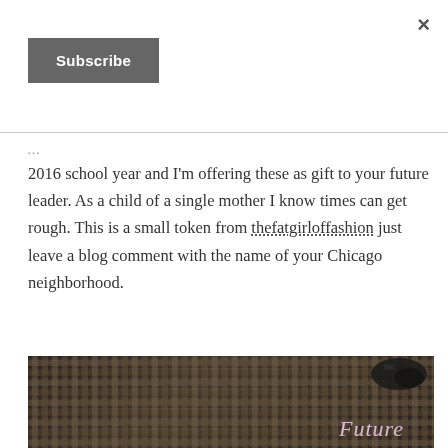×
Subscribe
2016 school year and I'm offering these as gift to your future leader.  As a child of a single mother I know times can get rough.  This is a small token from thefatgirloffashion just leave a blog comment with the name of your Chicago neighborhood.
[Figure (photo): Photo of school supplies or items on a woven/rattan surface. Partially visible items including what appears to be a backpack or bag with cursive text reading 'Future'.]